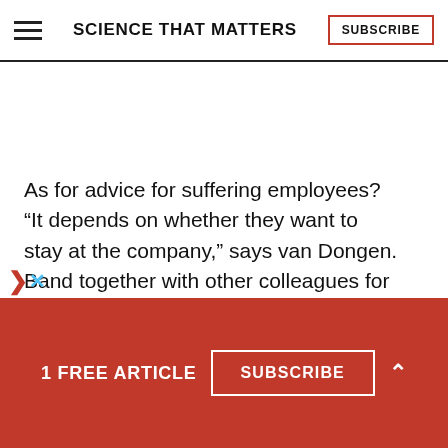SCIENCE THAT MATTERS
As for advice for suffering employees? “It depends on whether they want to stay at the company,” says van Dongen. Band together with other colleagues for support, and try not to make yourself an individual target. “They are so intelligent and manipulative that
1 FREE ARTICLE   SUBSCRIBE